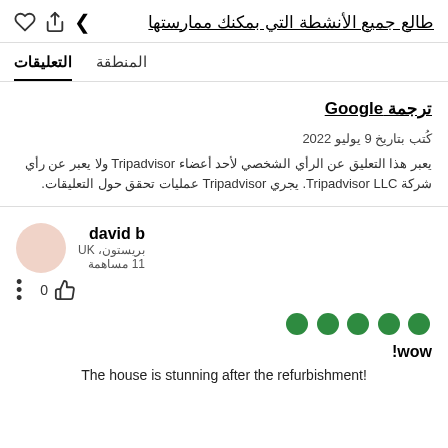طالع جميع الأنشطة التي بمكنك ممارستها
المنطقة   التعليقات
ترجمة Google
كُتب بتاريخ 9 يوليو 2022
يعبر هذا التعليق عن الرأي الشخصي لأحد أعضاء Tripadvisor ولا يعبر عن رأي شركة Tripadvisor LLC. يجري Tripadvisor عمليات تحقق حول التعليقات.
david b
بريستون، UK
11 مساهمة
[Figure (other): Five green circle rating dots (full rating)]
wow!
The house is stunning after the refurbishment!